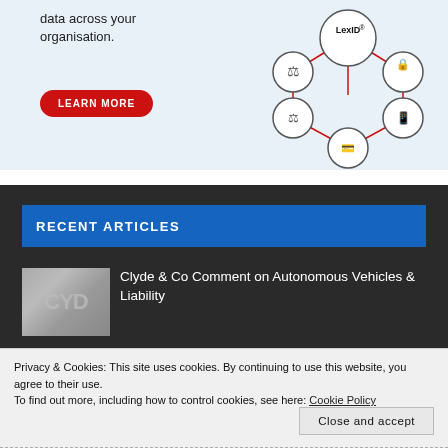[Figure (infographic): LexID network diagram showing interconnected circles with icons for legal/identity/payment services, with red connecting lines]
data across your organisation.
LEARN MORE
RECENT ARTICLES
[Figure (photo): Thumbnail photo showing CLYDE letters in metallic/silver 3D style]
Clyde & Co Comment on Autonomous Vehicles & Liability
Privacy & Cookies: This site uses cookies. By continuing to use this website, you agree to their use.
To find out more, including how to control cookies, see here: Cookie Policy
Close and accept